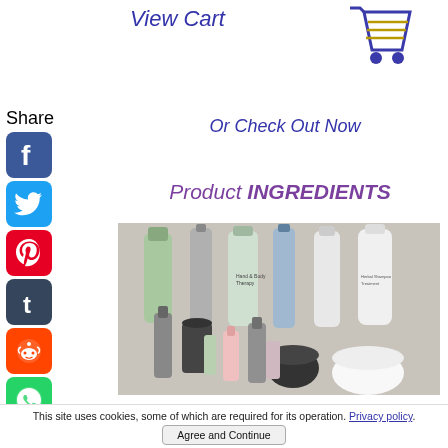View Cart
[Figure (illustration): Shopping cart icon in blue and gold]
Share
[Figure (illustration): Social media share icons: Facebook, Twitter, Pinterest, Tumblr, Reddit, WhatsApp]
Or Check Out Now
Product INGREDIENTS
[Figure (photo): Collection of natural skincare and beauty products including lotions, sprays, creams, and treatments displayed together]
This site uses cookies, some of which are required for its operation. Privacy policy.
Agree and Continue